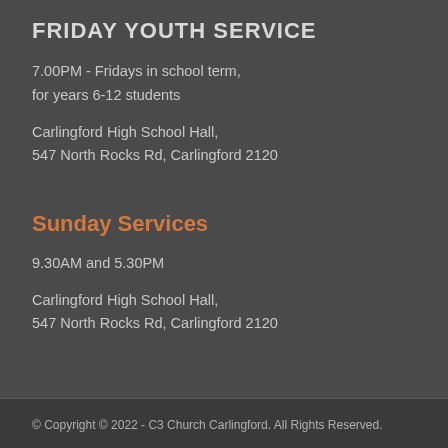FRIDAY YOUTH SERVICE
7.00PM - Fridays in school term,
for years 6-12 students
Carlingford High School Hall,
547 North Rocks Rd, Carlingford 2120
Sunday Services
9.30AM and 5.30PM
Carlingford High School Hall,
547 North Rocks Rd, Carlingford 2120
© Copyright © 2022 - C3 Church Carlingford. All Rights Reserved.